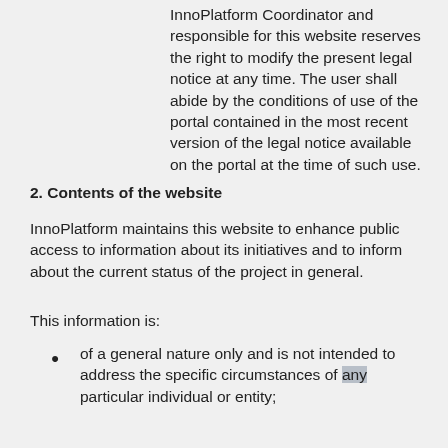InnoPlatform Coordinator and responsible for this website reserves the right to modify the present legal notice at any time. The user shall abide by the conditions of use of the portal contained in the most recent version of the legal notice available on the portal at the time of such use.
2. Contents of the website
InnoPlatform maintains this website to enhance public access to information about its initiatives and to inform about the current status of the project in general.
This information is:
of a general nature only and is not intended to address the specific circumstances of any particular individual or entity;